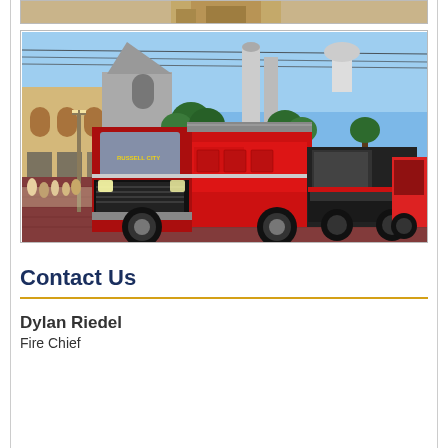[Figure (photo): Partial top of a photo showing a person in tan/beige uniform, cropped at top edge]
[Figure (photo): Fire trucks driving in a parade down a downtown street lined with brick buildings, trees, and spectators on the sidewalk. A large red fire engine leads the procession with additional trucks behind it. Clear blue sky overhead.]
Contact Us
Dylan Riedel
Fire Chief